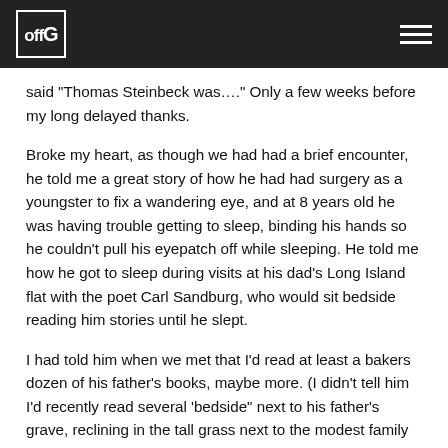off G [logo] [hamburger menu]
said "Thomas Steinbeck was…." Only a few weeks before my long delayed thanks.
Broke my heart, as though we had had a brief encounter, he told me a great story of how he had had surgery as a youngster to fix a wandering eye, and at 8 years old he was having trouble getting to sleep, binding his hands so he couldn't pull his eyepatch off while sleeping. He told me how he got to sleep during visits at his dad's Long Island flat with the poet Carl Sandburg, who would sit bedside reading him stories until he slept.
I had told him when we met that I'd read at least a bakers dozen of his father's books, maybe more. (I didn't tell him I'd recently read several 'bedside" next to his father's grave, reclining in the tall grass next to the modest family gravesite in Salinas, at the town's boundary, but I had.) We were talking about all this during the Steinbeck Centennial 2002 and I mentioned his